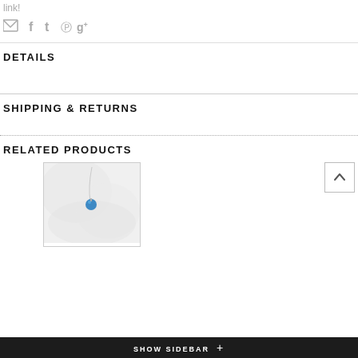link!
[Figure (infographic): Social sharing icons: email/envelope, Facebook, Twitter, Pinterest, Google+]
DETAILS
SHIPPING & RETURNS
RELATED PRODUCTS
[Figure (photo): Product photo: blue crystal/gem pendant necklace held in white-gloved hand against white background]
SHOW SIDEBAR +